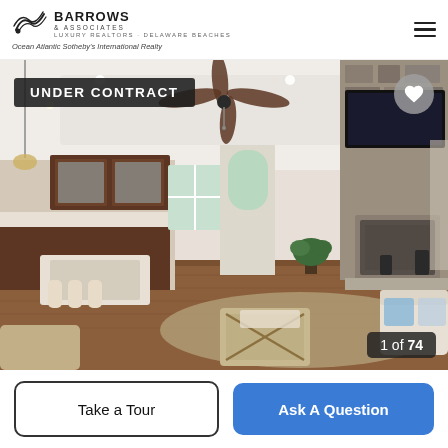[Figure (logo): Barrows & Associates Luxury Realtors - Delaware Beaches, Ocean Atlantic Sotheby's International Realty logo]
[Figure (photo): Interior photo of a luxury home living room with stone fireplace, ceiling fan, open kitchen, hardwood floors, and coastal decor. Badge reads UNDER CONTRACT. Photo counter shows 1 of 74.]
Take a Tour
Ask A Question